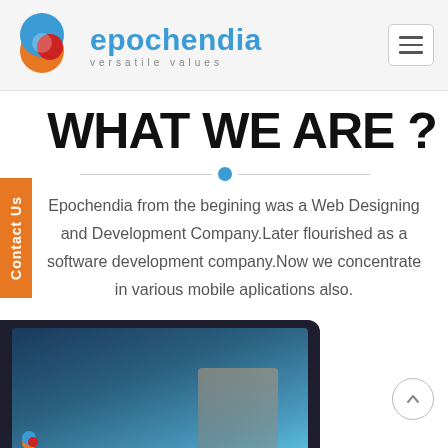[Figure (logo): Epochendia company logo with circular icon (blue, orange, red overlapping circles) and blue text 'epochendia' with tagline 'versatile values']
[Figure (other): Hamburger menu button (three horizontal lines) in a rounded rectangle border]
Contact Us
WHAT WE ARE ?
Epochendia from the begining was a Web Designing and Development Company.Later flourished as a software development company.Now we concentrate in various mobile aplications also.
[Figure (photo): Partial view of a tablet/monitor device with dark frame showing a screen with blue/teal content and the Epochendia logo, cropped at the bottom of the page]
[Figure (other): Scroll-to-top button: circle with upward arrow]